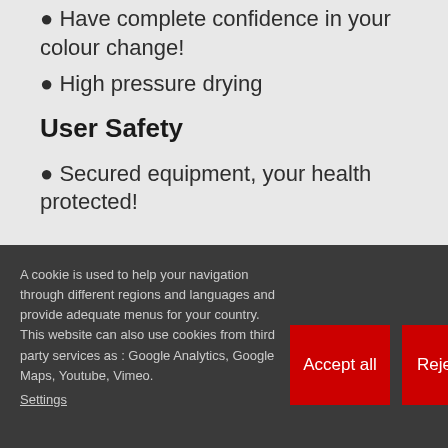Have complete confidence in your colour change!
High pressure drying
User Safety
Secured equipment, your health protected!
A cookie is used to help your navigation through different regions and languages and provide adequate menus for your country. This website can also use cookies from third party services as : Google Analytics, Google Maps, Youtube, Vimeo. Settings